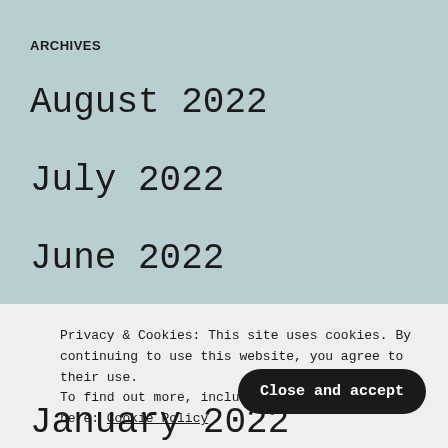ARCHIVES
August 2022
July 2022
June 2022
May 2022
April 2022
Privacy & Cookies: This site uses cookies. By continuing to use this website, you agree to their use. To find out more, including how here: Cookie Policy
January 2022